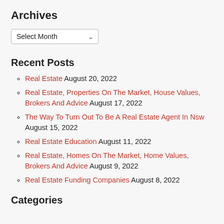Archives
Select Month (dropdown)
Recent Posts
Real Estate August 20, 2022
Real Estate, Properties On The Market, House Values, Brokers And Advice August 17, 2022
The Way To Turn Out To Be A Real Estate Agent In Nsw August 15, 2022
Real Estate Education August 11, 2022
Real Estate, Homes On The Market, Home Values, Brokers And Advice August 9, 2022
Real Estate Funding Companies August 8, 2022
Categories